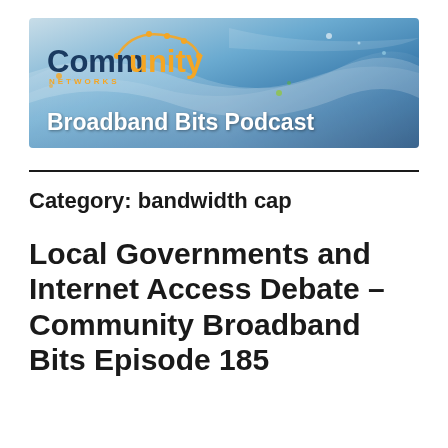[Figure (logo): Community Networks Broadband Bits Podcast banner with blue wave background, Community Networks logo in navy and orange, and 'Broadband Bits Podcast' text in white]
Category: bandwidth cap
Local Governments and Internet Access Debate – Community Broadband Bits Episode 185